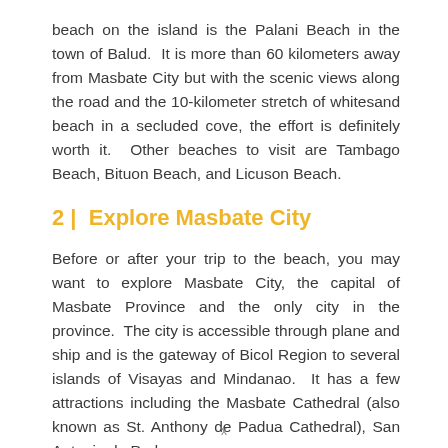beach on the island is the Palani Beach in the town of Balud.  It is more than 60 kilometers away from Masbate City but with the scenic views along the road and the 10-kilometer stretch of whitesand beach in a secluded cove, the effort is definitely worth it.  Other beaches to visit are Tambago Beach, Bituon Beach, and Licuson Beach.
2 |  Explore Masbate City
Before or after your trip to the beach, you may want to explore Masbate City, the capital of Masbate Province and the only city in the province.  The city is accessible through plane and ship and is the gateway of Bicol Region to several islands of Visayas and Mindanao.  It has a few attractions including the Masbate Cathedral (also known as St. Anthony de Padua Cathedral), San Antonio de Padua
x